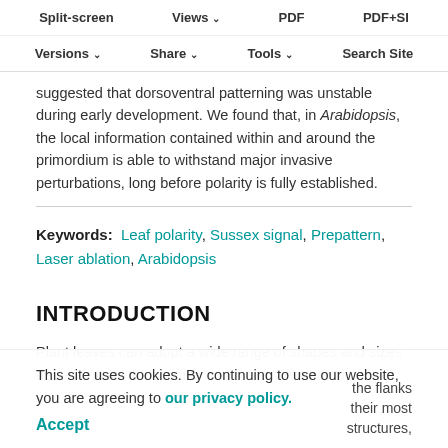Split-screen  Views  PDF  PDF+SI  Versions  Share  Tools  Search Site
suggested that dorsoventral patterning was unstable during early development. We found that, in Arabidopsis, the local information contained within and around the primordium is able to withstand major invasive perturbations, long before polarity is fully established.
Keywords:  Leaf polarity, Sussex signal, Prepattern, Laser ablation, Arabidopsis
INTRODUCTION
Plant leaves can adopt a wide range of shapes and sizes depending on the species and the environment in which the flanks of the shoot apical meristem (SAM) continue age at their most basic form, they then develop as flat, ellipsoid structures,
This site uses cookies. By continuing to use our website, you are agreeing to our privacy policy. Accept